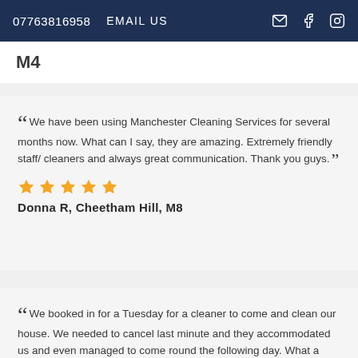07763816958  EMAIL US
M4
We have been using Manchester Cleaning Services for several months now. What can I say, they are amazing. Extremely friendly staff/ cleaners and always great communication. Thank you guys.
★★★★★
Donna R, Cheetham Hill, M8
We booked in for a Tuesday for a cleaner to come and clean our house. We needed to cancel last minute and they accommodated us and even managed to come round the following day. What a service, nothing seemed too much for them. I would recommend them to anyone in a heartbeat.